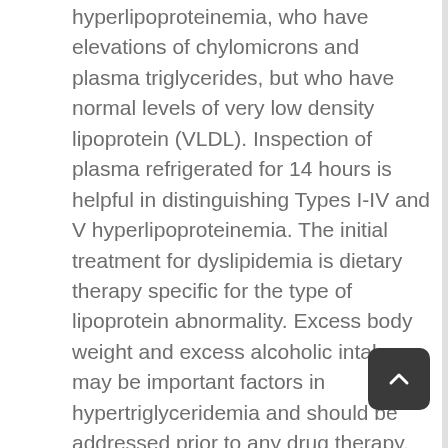hyperlipoproteinemia, who have elevations of chylomicrons and plasma triglycerides, but who have normal levels of very low density lipoprotein (VLDL). Inspection of plasma refrigerated for 14 hours is helpful in distinguishing Types I-IV and V hyperlipoproteinemia. The initial treatment for dyslipidemia is dietary therapy specific for the type of lipoprotein abnormality. Excess body weight and excess alcoholic intake may be important factors in hypertriglyceridemia and should be addressed prior to any drug therapy. Physical exercise can be an important ancillary measure. Diseases contributory to hyperlipidemia, such as hypothyroidism, diabetes mellitus should be looked for and adequately treated. Extra...